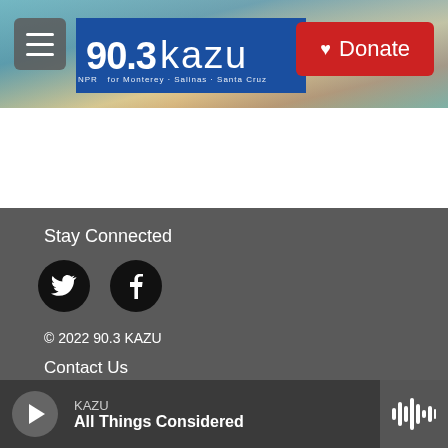90.3 kazu — NPR for Monterey · Salinas · Santa Cruz | Donate
[Figure (screenshot): KAZU 90.3 radio station website header with coastal landscape background photo, hamburger menu button, 90.3 KAZU logo in blue box, and red Donate button]
Stay Connected
[Figure (infographic): Two social media icons: Twitter (bird) and Facebook (f) as white icons on black circles]
© 2022 90.3 KAZU
Contact Us
Public File
Terms of Use
KAZU — All Things Considered (audio player bar)